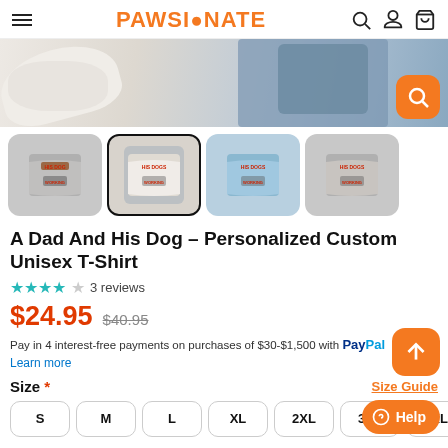PAWSIONATE
[Figure (photo): Banner image with white sneakers and blue denim jeans on white surface, with orange search button overlay]
[Figure (photo): Four product thumbnail images showing a gray t-shirt with 'A Dad And His Dog' graphic design, second thumbnail is selected/active]
A Dad And His Dog - Personalized Custom Unisex T-Shirt
★★★★☆ 3 reviews
$24.95  $40.95
Pay in 4 interest-free payments on purchases of $30-$1,500 with PayPal
Learn more
Size * Size Guide
S
M
L
XL
2XL
3XL
4XL